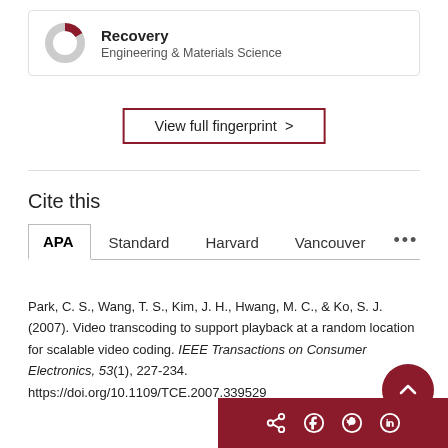[Figure (donut-chart): Small donut/ring chart icon with a dark red slice, representing 'Recovery' in Engineering & Materials Science fingerprint]
Recovery
Engineering & Materials Science
View full fingerprint >
Cite this
APA  Standard  Harvard  Vancouver ...
Park, C. S., Wang, T. S., Kim, J. H., Hwang, M. C., & Ko, S. J. (2007). Video transcoding to support playback at a random location for scalable video coding. IEEE Transactions on Consumer Electronics, 53(1), 227-234. https://doi.org/10.1109/TCE.2007.339529
[Figure (infographic): Share bar at bottom right with icons for share, Facebook, Twitter, LinkedIn, and a scroll-to-top button]